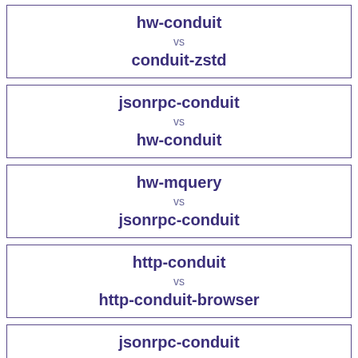hw-conduit vs conduit-zstd
jsonrpc-conduit vs hw-conduit
hw-mquery vs jsonrpc-conduit
http-conduit vs http-conduit-browser
jsonrpc-conduit vs ...